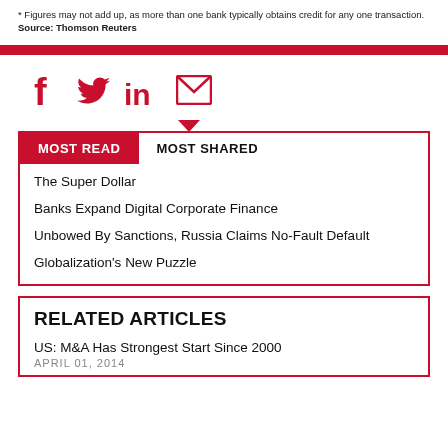* Figures may not add up, as more than one bank typically obtains credit for any one transaction. Source: Thomson Reuters
[Figure (infographic): Social media sharing icons: Facebook, Twitter, LinkedIn, Email]
MOST READ | MOST SHARED
The Super Dollar
Banks Expand Digital Corporate Finance
Unbowed By Sanctions, Russia Claims No-Fault Default
Globalization's New Puzzle
RELATED ARTICLES
US: M&A Has Strongest Start Since 2000
APRIL 01, 2014